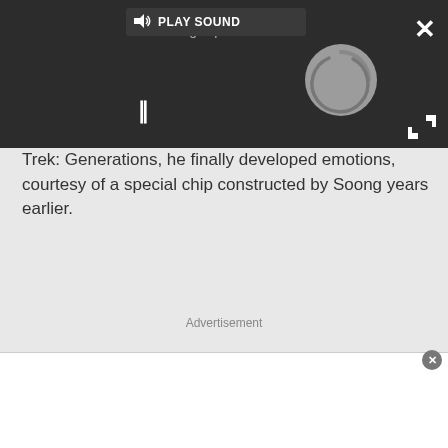[Figure (screenshot): Media player overlay with dark background showing a loading spinner, pause button, PLAY SOUND bar, close X button, and expand arrows.]
Trek: Generations, he finally developed emotions, courtesy of a special chip constructed by Soong years earlier.
Advertisement
[Figure (other): White advertisement box with close button]